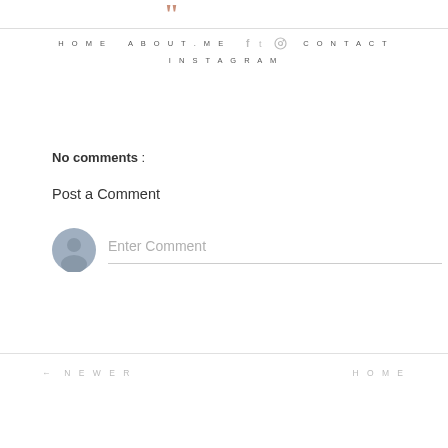[Figure (logo): Decorative quotation marks logo in salmon/terracotta color]
HOME   ABOUT.ME   CONTACT   INSTAGRAM   [social icons: f, twitter, pinterest]
No comments :
Post a Comment
[Figure (screenshot): Comment input area with avatar circle and 'Enter Comment' placeholder text with underline]
← NEWER   HOME